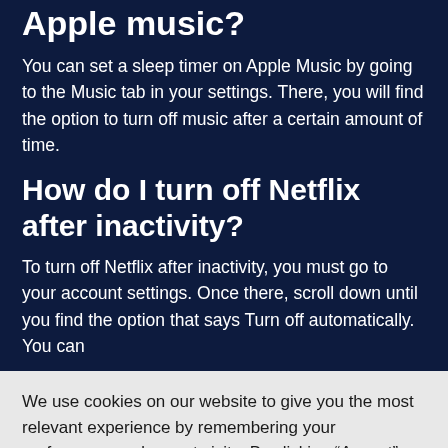Apple music?
You can set a sleep timer on Apple Music by going to the Music tab in your settings. There, you will find the option to turn off music after a certain amount of time.
How do I turn off Netflix after inactivity?
To turn off Netflix after inactivity, you must go to your account settings. Once there, scroll down until you find the option that says Turn off automatically. You can
We use cookies on our website to give you the most relevant experience by remembering your preferences and repeat visits. By clicking “Accept”, you consent to the use of ALL the cookies.
Do not sell my personal information.